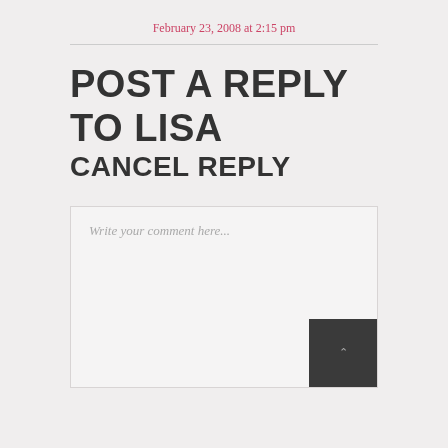February 23, 2008 at 2:15 pm
POST A REPLY TO LISA CANCEL REPLY
Write your comment here...